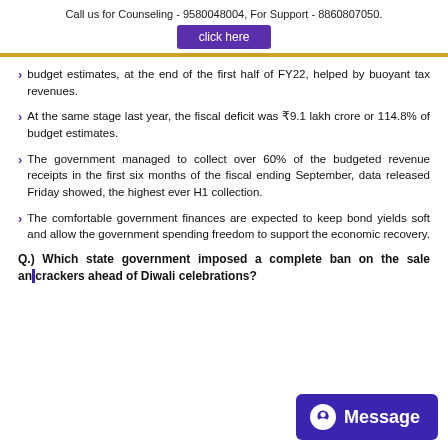Call us for Counseling - 9580048004, For Support - 8860807050.
click here
budget estimates, at the end of the first half of FY22, helped by buoyant tax revenues.
At the same stage last year, the fiscal deficit was ₹9.1 lakh crore or 114.8% of budget estimates.
The government managed to collect over 60% of the budgeted revenue receipts in the first six months of the fiscal ending September, data released Friday showed, the highest ever H1 collection.
The comfortable government finances are expected to keep bond yields soft and allow the government spending freedom to support the economic recovery.
Q.) Which state government imposed a complete ban on the sale and bursting of fire crackers ahead of Diwali celebrations?